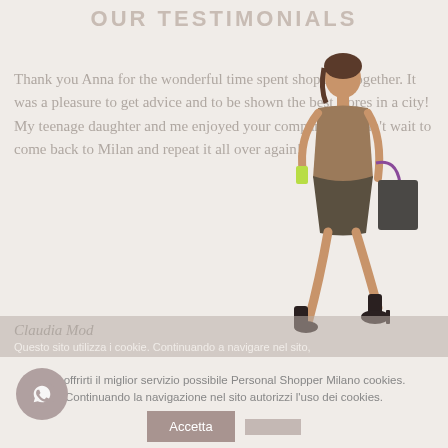OUR TESTIMONIALS
Thank you Anna for the wonderful time spent shopping together. It was a pleasure to get advice and to be shown the best stores in a city! My teenage daughter and me enjoyed your company and can't wait to come back to Milan and repeat it all over again!
[Figure (illustration): Illustration of a fashionable woman walking with shopping bags]
Claudia Mod
Questo sito utilizza i cookie. Continuando a navigare nel sito,
Per offrirti il miglior servizio possibile Personal Shopper Milano cookies. Continuando la navigazione nel sito autorizzi l'uso dei cookies.
Accetta